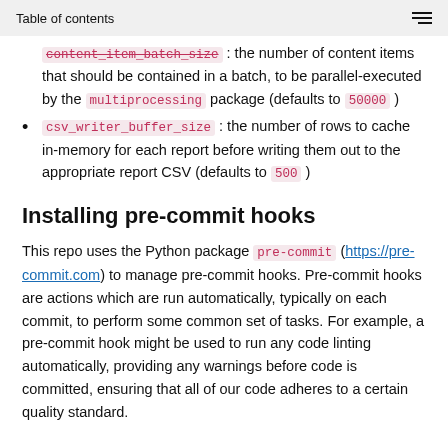Table of contents
content_item_batch_size : the number of content items that should be contained in a batch, to be parallel-executed by the multiprocessing package (defaults to 50000 )
csv_writer_buffer_size : the number of rows to cache in-memory for each report before writing them out to the appropriate report CSV (defaults to 500 )
Installing pre-commit hooks
This repo uses the Python package pre-commit (https://pre-commit.com) to manage pre-commit hooks. Pre-commit hooks are actions which are run automatically, typically on each commit, to perform some common set of tasks. For example, a pre-commit hook might be used to run any code linting automatically, providing any warnings before code is committed, ensuring that all of our code adheres to a certain quality standard.